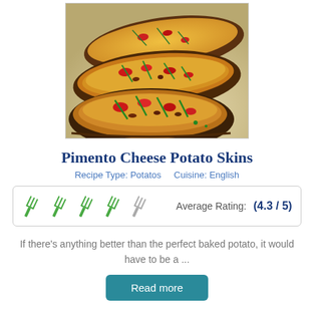[Figure (photo): Close-up photo of Pimento Cheese Potato Skins topped with melted cheese, red pimento pieces, and chopped green chives on baked potato skin halves]
Pimento Cheese Potato Skins
Recipe Type: Potatos    Cuisine: English
Average Rating:    (4.3 / 5)
If there's anything better than the perfect baked potato, it would have to be a ...
Read more